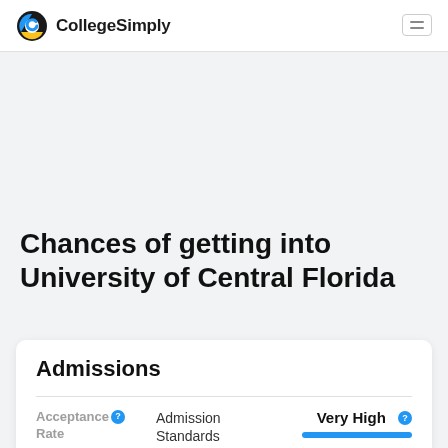CollegeSimply
Chances of getting into University of Central Florida
Admissions
|  | Admission Standards | Very High |
| --- | --- | --- |
| Acceptance Rate | Admission Standards | Very High |